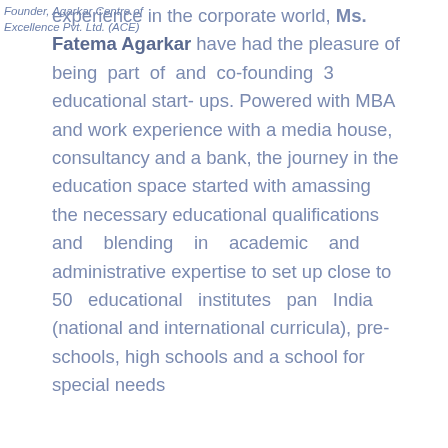experience in the corporate world, Ms. Fatema Agarkar have had the pleasure of being part of and co-founding 3 educational start- ups. Powered with MBA and work experience with a media house, consultancy and a bank, the journey in the education space started with amassing the necessary educational qualifications and blending in academic and administrative expertise to set up close to 50 educational institutes pan India (national and international curricula), pre-schools, high schools and a school for special needs
Founder, Agarkar Centre of Excellence Pvt. Ltd. (ACE)